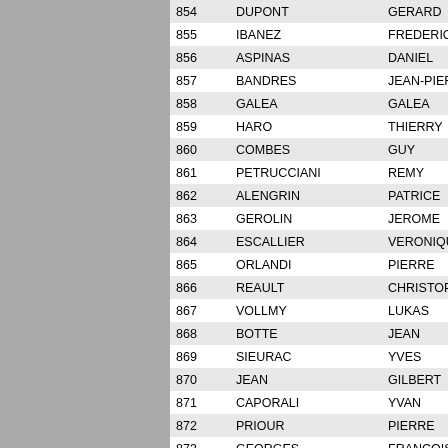| # | Last Name | First Name |
| --- | --- | --- |
| 854 | DUPONT | GERARD |
| 855 | IBANEZ | FREDERIC |
| 856 | ASPINAS | DANIEL |
| 857 | BANDRES | JEAN-PIERRE |
| 858 | GALEA | GALEA |
| 859 | HARO | THIERRY |
| 860 | COMBES | GUY |
| 861 | PETRUCCIANI | REMY |
| 862 | ALENGRIN | PATRICE |
| 863 | GEROLIN | JEROME |
| 864 | ESCALLIER | VERONIQUE |
| 865 | ORLANDI | PIERRE |
| 866 | REAULT | CHRISTOPHE |
| 867 | VOLLMY | LUKAS |
| 868 | BOTTE | JEAN |
| 869 | SIEURAC | YVES |
| 870 | JEAN | GILBERT |
| 871 | CAPORALI | YVAN |
| 872 | PRIOUR | PIERRE |
| 873 | GEORGES | FRANCOIS |
| 874 | PELLETIER | MICHEL |
| 875 | GOEPFERT | ALAIN |
| 876 | BALLAGER | JEAN-EMMANUEL |
| 877 | GEAY | ANDRE |
| 878 | SOUQUET | JEAN-EDOUARD |